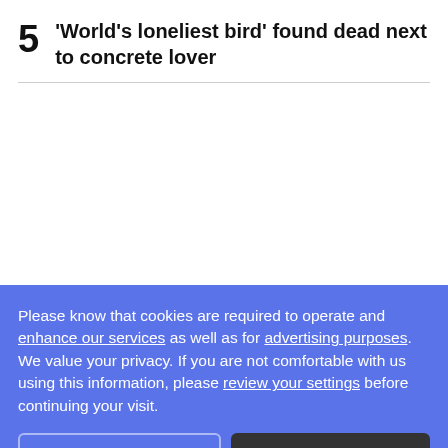5 'World's loneliest bird' found dead next to concrete lover
Please know that cookies are required to operate and enhance our services as well as for advertising purposes. We value your privacy. If you are not comfortable with us using this information, please review your settings before continuing your visit.
RECOMMENDED FOR YOU
Dispute in B.C. reveals cracks in Canada's shipbreaking